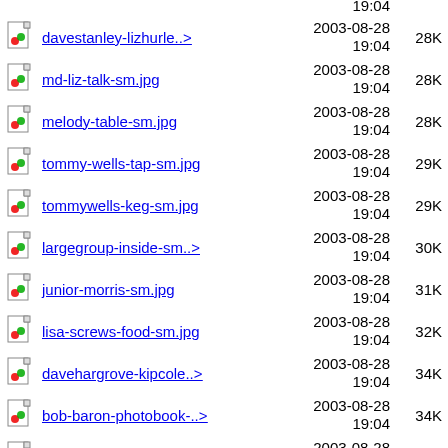davestanley-lizhurle..> 2003-08-28 19:04 28K
md-liz-talk-sm.jpg 2003-08-28 19:04 28K
melody-table-sm.jpg 2003-08-28 19:04 28K
tommy-wells-tap-sm.jpg 2003-08-28 19:04 29K
tommywells-keg-sm.jpg 2003-08-28 19:04 29K
largegroup-inside-sm..> 2003-08-28 19:04 30K
junior-morris-sm.jpg 2003-08-28 19:04 31K
lisa-screws-food-sm.jpg 2003-08-28 19:04 32K
davehargrove-kipcole..> 2003-08-28 19:04 34K
bob-baron-photobook-..> 2003-08-28 19:04 34K
bobbaron-album-sm.jpg 2003-08-28 19:04 34K